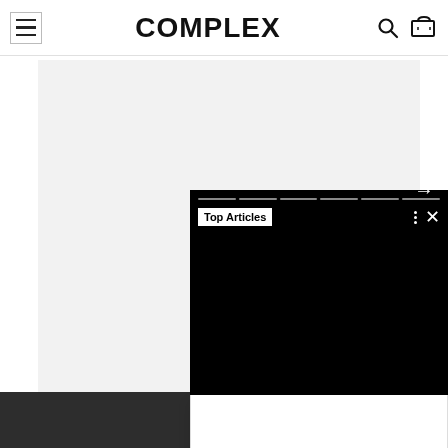[Figure (screenshot): Complex website header with hamburger menu icon on left, COMPLEX logo in center, search and cart icons on right]
[Figure (screenshot): Gray content area below header representing a webpage content block]
[Figure (screenshot): Black overlay panel with progress bars at top, 'Top Articles' label with white background, three-dot menu and X close button, dark content area with right arrow navigation button]
[Figure (screenshot): White card footer area below the black panel]
[Figure (screenshot): Dark gray footer bar at bottom of page with small right arrow button]